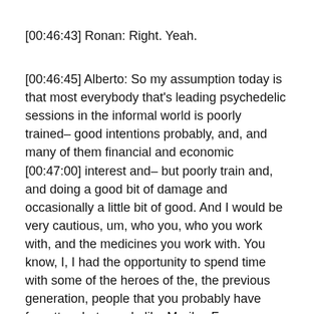[00:46:43] Ronan: Right. Yeah.
[00:46:45] Alberto: So my assumption today is that most everybody that's leading psychedelic sessions in the informal world is poorly trained– good intentions probably, and, and many of them financial and economic [00:47:00] interest and– but poorly train and, and doing a good bit of damage and occasionally a little bit of good. And I would be very cautious, um, who you, who you work with, and the medicines you work with. You know, I, I had the opportunity to spend time with some of the heroes of the, the previous generation, people that you probably have forgotten, but people like Marilyn Ferguson, who had the Brain Mind Bulletin, and John Lilly, who and I see– I saw these people just go down